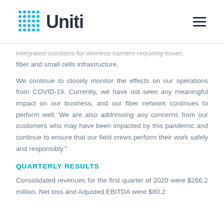Uniti
integrated solutions for wireless carriers requiring tower, fiber and small cells infrastructure.
We continue to closely monitor the effects on our operations from COVID-19. Currently, we have not seen any meaningful impact on our business, and our fiber network continues to perform well. We are also addressing any concerns from our customers who may have been impacted by this pandemic and continue to ensure that our field crews perform their work safely and responsibly."
QUARTERLY RESULTS
Consolidated revenues for the first quarter of 2020 were $266.2 million. Net loss and Adjusted EBITDA were $80.2